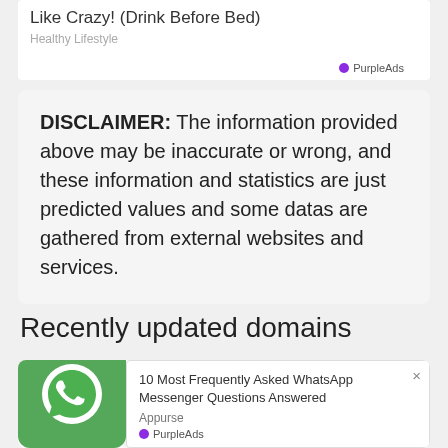[Figure (screenshot): Ad banner showing 'Like Crazy! (Drink Before Bed)' with source 'Healthy Lifestyle' and PurpleAds label]
DISCLAIMER: The information provided above may be inaccurate or wrong, and these information and statistics are just predicted values and some datas are gathered from external websites and services.
Recently updated domains
[Figure (screenshot): Card showing a domain link partially visible, with Rank and Last info, overlaid by WhatsApp notification ad popup: '10 Most Frequently Asked WhatsApp Messenger Questions Answered' by Appurse, PurpleAds]